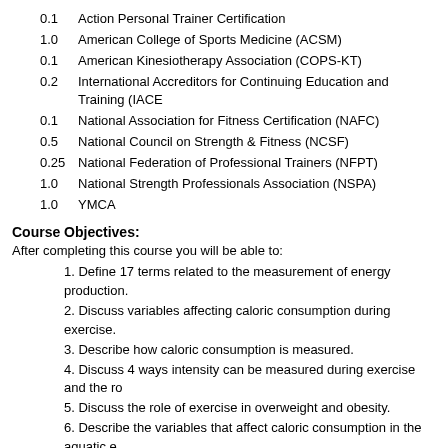0.1  Action Personal Trainer Certification
1.0  American College of Sports Medicine (ACSM)
0.1  American Kinesiotherapy Association (COPS-KT)
0.2  International Accreditors for Continuing Education and Training (IACE
0.1  National Association for Fitness Certification (NAFC)
0.5  National Council on Strength & Fitness (NCSF)
0.25 National Federation of Professional Trainers (NFPT)
1.0  National Strength Professionals Association (NSPA)
1.0  YMCA
Course Objectives:
After completing this course you will be able to:
1. Define 17 terms related to the measurement of energy production.
2. Discuss variables affecting caloric consumption during exercise.
3. Describe how caloric consumption is measured.
4. Discuss 4 ways intensity can be measured during exercise and the ro
5. Discuss the role of exercise in overweight and obesity.
6. Describe the variables that affect caloric consumption in the aquatic e
Other Courses by this author:
Applied Anatomy: Land and Water
Aquatic Personal Training Programming
Basic Measurement and Body Composition Assessment
Blood Pressure, Hypertension, and Exercise